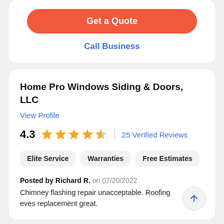[Figure (screenshot): Orange rounded button labeled 'Get a Quote']
Call Business
Home Pro Windows Siding & Doors, LLC
View Profile
4.3  25 Verified Reviews
Elite Service
Warranties
Free Estimates
Posted by Richard R. on 07/20/2022
Chimney flashing repair unacceptable. Roofing eves replacement great.